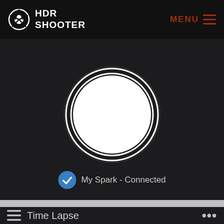[Figure (screenshot): HDR Shooter app navigation bar with logo (aperture icon and HDR SHOOTER text) on left, and MENU with hamburger icon on right in dark red/brown color]
[Figure (screenshot): Dark camera viewfinder area with a white circle shutter button (ring style) in the center, and a blue checkmark badge with text 'My Spark - Connected' at the bottom]
My Spark - Connected
Time Lapse